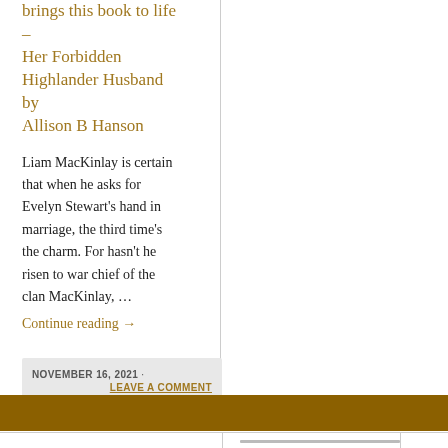brings this book to life – Her Forbidden Highlander Husband by Allison B Hanson
Liam MacKinlay is certain that when he asks for Evelyn Stewart's hand in marriage, the third time's the charm. For hasn't he risen to war chief of the clan MacKinlay, …
Continue reading →
NOVEMBER 16, 2021 · LEAVE A COMMENT